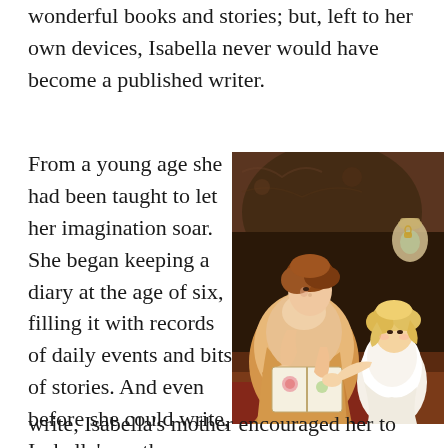wonderful books and stories; but, left to her own devices, Isabella never would have become a published writer.
From a young age she had been taught to let her imagination soar. She began keeping a diary at the age of six, filling it with records of daily events and bits of stories. And even before she could write, Isabella's mother encouraged her to make up
[Figure (photo): A classical painting depicting a mother in elegant Victorian-era dress sitting with a young blonde girl, both looking at an open book together. The background shows an ornate, richly colored setting.]